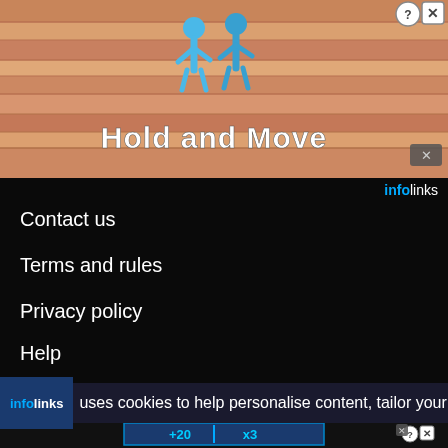[Figure (screenshot): Top advertisement banner with salmon/wood background, blue cartoon figures, and 'Hold and Move' title text in white bold font. Infolinks ad with question mark and X buttons in top right.]
Contact us
Terms and rules
Privacy policy
Help
Home
RSS feed icon
infolinks uses cookies to help personalise content, tailor your
[Figure (screenshot): Bottom advertisement banner showing 'Hold and Move' game with scoreboard showing +20 and x3, blue cartoon figure running, winter trees in background.]